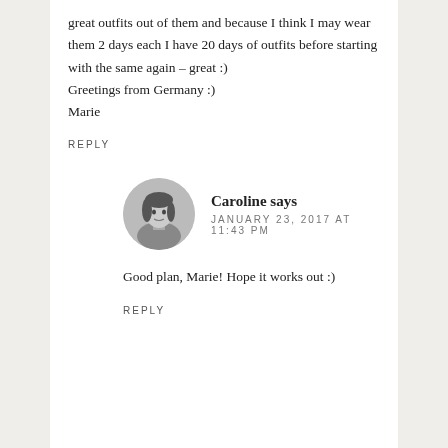great outfits out of them and because I think I may wear them 2 days each I have 20 days of outfits before starting with the same again – great :)
Greetings from Germany :)
Marie
REPLY
Caroline says
JANUARY 23, 2017 AT 11:43 PM
Good plan, Marie! Hope it works out :)
REPLY